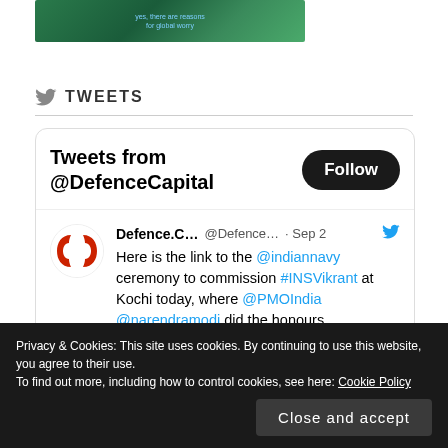[Figure (illustration): Partial top image with green/dark background and small blue text reading 'yes, there are reasons for global worry']
TWEETS
[Figure (screenshot): Twitter/X embedded widget showing 'Tweets from @DefenceCapital' with a Follow button, and a tweet by Defence.C... (@Defence...) dated Sep 2 reading: Here is the link to the @indiannavy ceremony to commission #INSVikrant at Kochi today, where @PMOIndia @narendramodi did the honours.]
Privacy & Cookies: This site uses cookies. By continuing to use this website, you agree to their use.
To find out more, including how to control cookies, see here: Cookie Policy